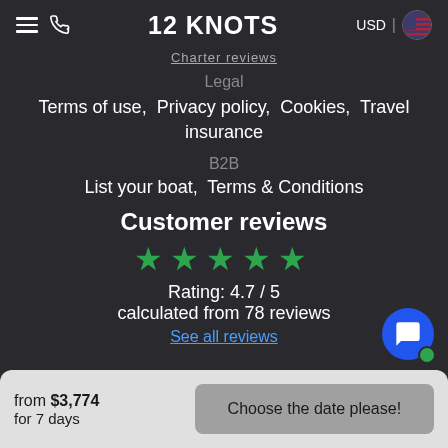12 KNOTS  USD
Charter reviews
Legal
Terms of use,  Privacy policy,  Cookies,  Travel insurance
B2B
List your boat,  Terms & Conditions
Customer reviews
★★★★★  Rating: 4.7 / 5  calculated from 78 reviews
See all reviews
from $3,774 for 7 days
Choose the date please!